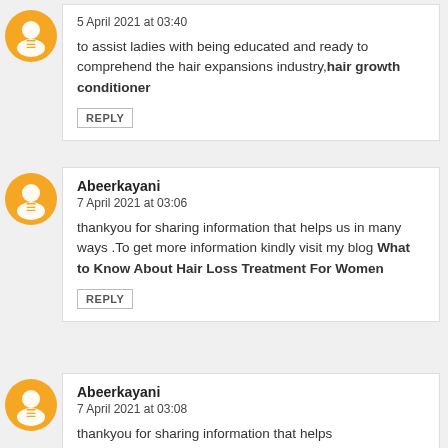5 April 2021 at 03:40
to assist ladies with being educated and ready to comprehend the hair expansions industry,hair growth conditioner
REPLY
Abeerkayani
7 April 2021 at 03:06
thankyou for sharing information that helps us in many ways .To get more information kindly visit my blog What to Know About Hair Loss Treatment For Women
REPLY
Abeerkayani
7 April 2021 at 03:08
thankyou for sharing information that helps